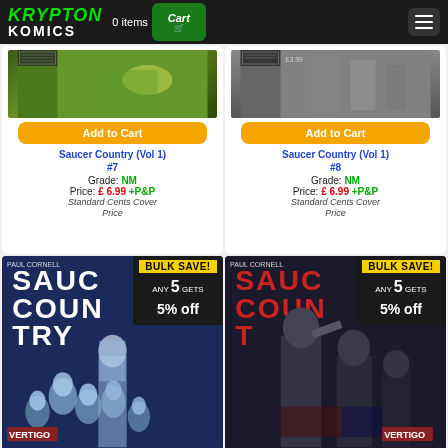Krypton Komics — 0 items Cart
[Figure (photo): Comic book cover for Saucer Country Vol 1 #7 with green/action scene]
Add to Cart
Saucer Country (Vol 1) #7
Grade: NM
Price: £ 6.99 +P&P
Standard Cents Cover Price
[Figure (photo): Comic book cover for Saucer Country Vol 1 #8 with dark figures]
Add to Cart
Saucer Country (Vol 1) #8
Grade: NM
Price: £ 6.99 +P&P
Standard Cents Cover Price
[Figure (photo): Comic book cover Saucer Country with aliens, Paul Cornell, Vertigo label, Bulk Save badge: ANY 5 GETS 5% off]
[Figure (photo): Comic book cover Saucer Country with figures, Paul Cornell, Vertigo label, Bulk Save badge: ANY 5 GETS 5% off]